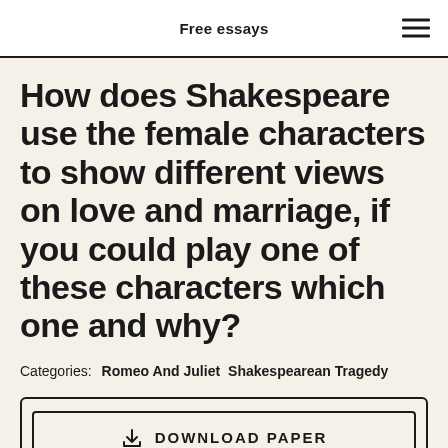Free essays
How does Shakespeare use the female characters to show different views on love and marriage, if you could play one of these characters which one and why?
Categories: Romeo And Juliet  Shakespearean Tragedy
DOWNLOAD PAPER